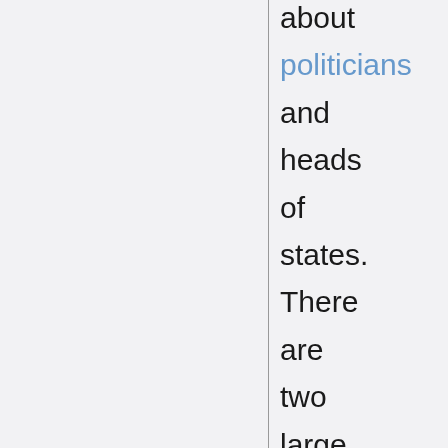about politicians and heads of states. There are two large categories of this type of jokes.